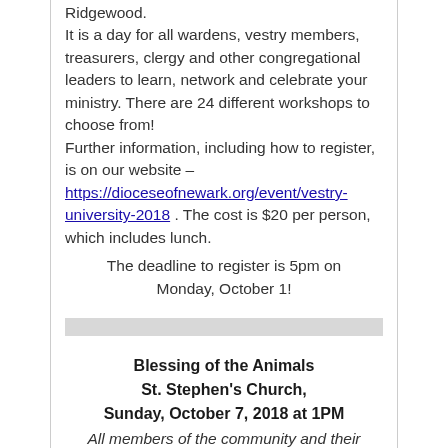Ridgewood. It is a day for all wardens, vestry members, treasurers, clergy and other congregational leaders to learn, network and celebrate your ministry. There are 24 different workshops to choose from! Further information, including how to register, is on our website – https://dioceseofnewark.org/event/vestry-university-2018 . The cost is $20 per person, which includes lunch.
The deadline to register is 5pm on Monday, October 1!
Blessing of the Animals
St. Stephen's Church,
Sunday, October 7, 2018 at 1PM
All members of the community and their